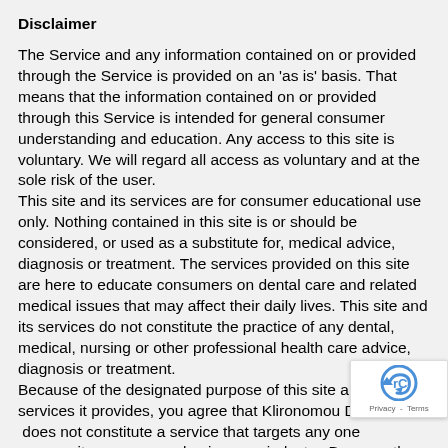Disclaimer
The Service and any information contained on or provided through the Service is provided on an ‘as is’ basis. That means that the information contained on or provided through this Service is intended for general consumer understanding and education. Any access to this site is voluntary. We will regard all access as voluntary and at the sole risk of the user.
This site and its services are for consumer educational use only. Nothing contained in this site is or should be considered, or used as a substitute for, medical advice, diagnosis or treatment. The services provided on this site are here to educate consumers on dental care and related medical issues that may affect their daily lives. This site and its services do not constitute the practice of any dental, medical, nursing or other professional health care advice, diagnosis or treatment.
Because of the designated purpose of this site and the services it provides, you agree that Klironomou Dental  does not constitute a service that targets any one community, user group, business or industry. Because the site is designed for educational purposes you also agree that it does not constitute “doing business” in a specific jurisdiction or soliciting business for us or any of our affiliated companies, subsidiaries or our parent company or established to its consumers with jurisdiction outside. C...